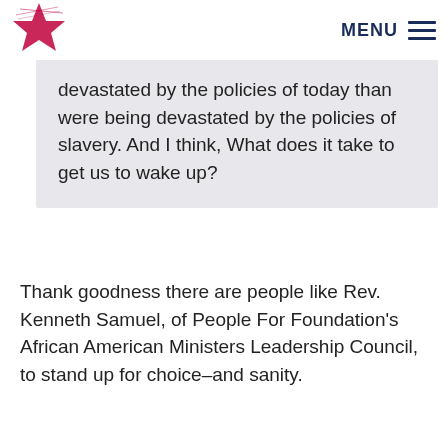MENU
devastated by the policies of today than were being devastated by the policies of slavery. And I think, What does it take to get us to wake up?
Thank goodness there are people like Rev. Kenneth Samuel, of People For Foundation's African American Ministers Leadership Council, to stand up for choice–and sanity.